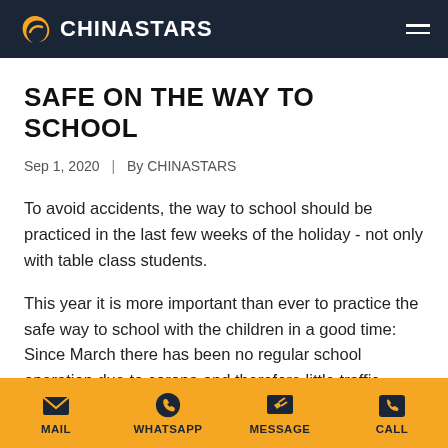CHINASTARS
SAFE ON THE WAY TO SCHOOL
Sep 1, 2020  |  By CHINASTARS
To avoid accidents, the way to school should be practiced in the last few weeks of the holiday - not only with table class students.
This year it is more important than ever to practice the safe way to school with the children in a good time: Since March there has been no regular school operation due to corona and therefore little traffic
MAIL  WHATSAPP  MESSAGE  CALL